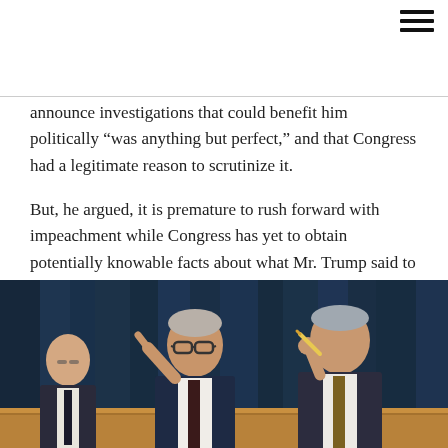announce investigations that could benefit him politically "was anything but perfect," and that Congress had a legitimate reason to scrutinize it.
But, he argued, it is premature to rush forward with impeachment while Congress has yet to obtain potentially knowable facts about what Mr. Trump said to his aides about withholding a White House meeting and $391 million in military aid that Ukraine desperately needed to shore up its defenses against Russian aggression.
[Figure (photo): Congressional hearing scene showing two men in suits seated at a dais, one gesturing with a raised finger, the other touching his chin, with dark blue curtains in the background]